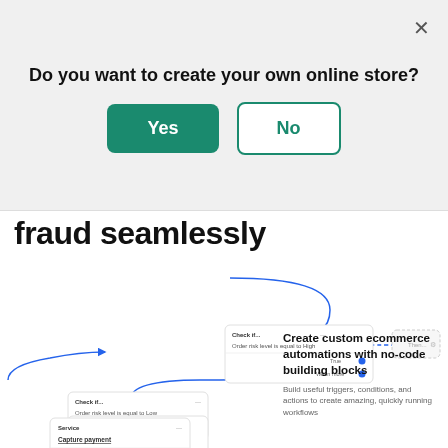Do you want to create your own online store?
Yes
No
fraud seamlessly
[Figure (flowchart): A no-code automation flowchart showing workflow blocks connected by blue arrows. Blocks include: 'Check if... Order risk level is equal to High' with True and When more outputs; 'Check if... Order risk level is equal to Low' with True and Otherwise outputs; 'Service: Capture payment' with Done output; and a placeholder block connected via dashed arrow.]
Create custom ecommerce automations with no-code building blocks
Build useful triggers, conditions, and actions to create amazing, quickly running workflows